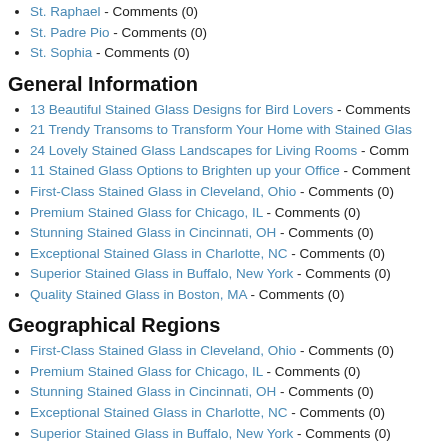St. Raphael - Comments (0)
St. Padre Pio - Comments (0)
St. Sophia - Comments (0)
General Information
13 Beautiful Stained Glass Designs for Bird Lovers - Comments
21 Trendy Transoms to Transform Your Home with Stained Glas
24 Lovely Stained Glass Landscapes for Living Rooms - Comm
11 Stained Glass Options to Brighten up your Office - Comment
First-Class Stained Glass in Cleveland, Ohio - Comments (0)
Premium Stained Glass for Chicago, IL - Comments (0)
Stunning Stained Glass in Cincinnati, OH - Comments (0)
Exceptional Stained Glass in Charlotte, NC - Comments (0)
Superior Stained Glass in Buffalo, New York - Comments (0)
Quality Stained Glass in Boston, MA - Comments (0)
Geographical Regions
First-Class Stained Glass in Cleveland, Ohio - Comments (0)
Premium Stained Glass for Chicago, IL - Comments (0)
Stunning Stained Glass in Cincinnati, OH - Comments (0)
Exceptional Stained Glass in Charlotte, NC - Comments (0)
Superior Stained Glass in Buffalo, New York - Comments (0)